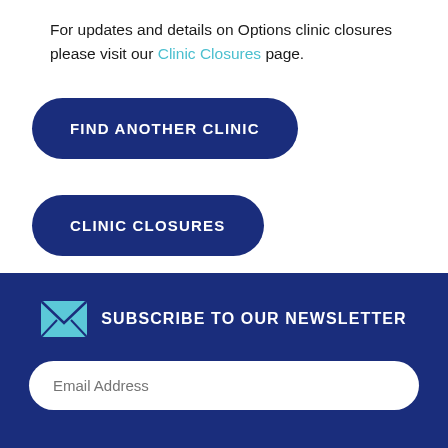For updates and details on Options clinic closures please visit our Clinic Closures page.
FIND ANOTHER CLINIC
CLINIC CLOSURES
SUBSCRIBE TO OUR NEWSLETTER
Email Address